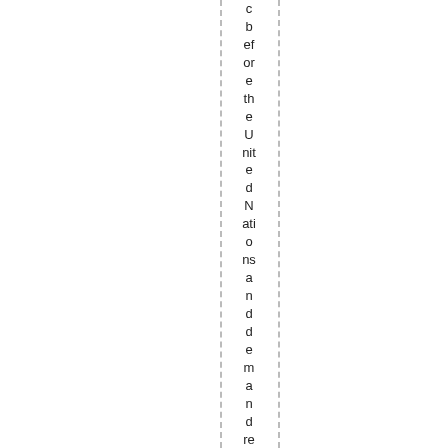c before the United Nations and demand respect for th